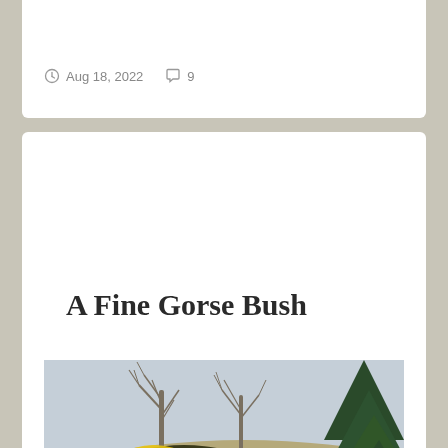Aug 18, 2022   9
A Fine Gorse Bush
[Figure (photo): A gorse bush with bright yellow flowers in bloom, set against a hillside with dry grass, bare deciduous trees, and an evergreen tree. The sky is overcast and pale blue-grey.]